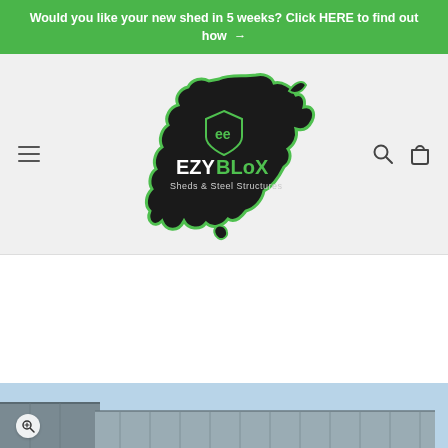Would you like your new shed in 5 weeks? Click HERE to find out how →
[Figure (logo): EZYBLoX Sheds & Steel Structures logo — Australia map silhouette in black with green outline, containing a shield icon and the text EZY (white) BLoX (green) Sheds & Steel Structures (white)]
[Figure (photo): Partial view of a steel shed building against a blue sky, shown at the bottom of the page]